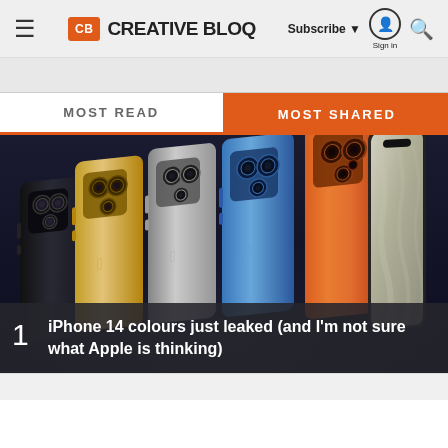Creative Bloq — Subscribe | Sign in | Search
MOST READ | MOST SHARED
[Figure (photo): Multiple iPhone 14 models shown in various colors (black, gold, silver, blue, orange) arranged in a fan layout, showing back camera array and front screen of the orange model.]
1  iPhone 14 colours just leaked (and I'm not sure what Apple is thinking)